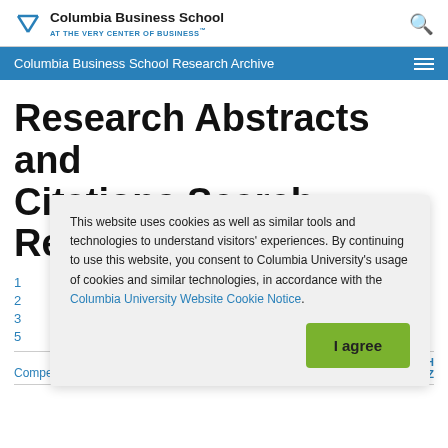Columbia Business School AT THE VERY CENTER OF BUSINESS™
Columbia Business School Research Archive
Research Abstracts and Citations Search Result
This website uses cookies as well as similar tools and technologies to understand visitors' experiences. By continuing to use this website, you consent to Columbia University's usage of cookies and similar technologies, in accordance with the Columbia University Website Cookie Notice.
I agree
Competition and Competitiveness in
JOSEPH STIGLITZ